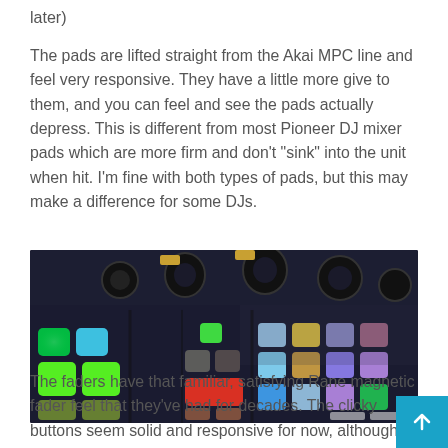later)
The pads are lifted straight from the Akai MPC line and feel very responsive. They have a little more give to them, and you can feel and see the pads actually depress. This is different from most Pioneer DJ mixer pads which are more firm and don’t “sink” into the unit when hit. I’m fine with both types of pads, but this may make a difference for some DJs.
[Figure (photo): Close-up photo of a DJ controller showing colorful illuminated pads in green, cyan, orange, red, purple, yellow, and white colors, with knobs visible in the background.]
The faders have that familiar, satisfying Rane magnetic fader feel that they’ve had for decades. The clicky buttons seem solid and responsive for now, although